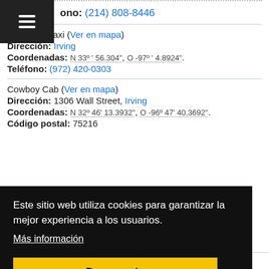ono: (214) 808-8446
Executive Taxi (Ver en mapa)
Dirección: Irving
Coordenadas: N 33° ' 56.304", O -97° ' 4.8924".
Teléfono: (972) 420-0303
Cowboy Cab (Ver en mapa)
Dirección: 1306 Wall Street, Irving
Coordenadas: N 32° 46' 13.3932", O -96° 47' 40.3692".
Código postal: 75216
Este sitio web utiliza cookies para garantizar la mejor experiencia a los usuarios. Más información
De acuerdo
Dirección: 1306 Wall Street, Irving